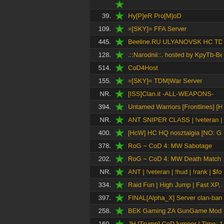| Rank | Icon | Server Name |
| --- | --- | --- |
| 39. |  | Hy[P]eR Pro[M]oD |
| 109. |  | =[SKY]= FFA Server |
| 445. |  | Beeline.RU ULYANOVSK HC TDM |
| 128. |  | .::Narodnii::. hosted by KpyTb-BepT |
| 514. |  | CoD4Host |
| 155. |  | =[SKY]= TDM|War Server |
| NR. |  | [ISS]Clan.it -ALL-WEAPONS- |
| 394. |  | Untamed Warriors [Frontlines] [HC] |
| NR. |  | ANT SNIPER CLASS | !veteran | !h |
| 400. |  | [HcW] HC HQ nosztalgia [NO: GL, |
| 378. |  | RoG ~ CoD 4: MW Sabotage |
| 202. |  | RoG ~ CoD 4: MW Death Match |
| NR. |  | ANT | !veteran | !hud | !rank | $fov | |
| 334. |  | Raid Fun | High Jump | Fast XP, Ar |
| 397. |  | FINAL[Alpha_X] Server clan-bande |
| 258. |  | BEK Gaming ZA GunGame Mod | J |
| 160. |  | JH [Trump] CoDJumper | Time: 19 |
| 174. |  | VC' CodJumper 1.05 |
| 197. |  | 1stMSOB Tactical PB |